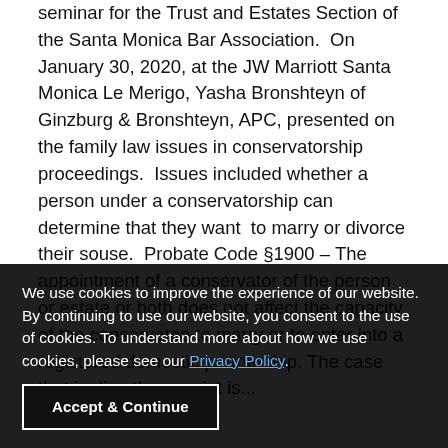seminar for the Trust and Estates Section of the Santa Monica Bar Association.  On January 30, 2020, at the JW Marriott Santa Monica Le Merigo, Yasha Bronshteyn of Ginzburg & Bronshteyn, APC, presented on the family law issues in conservatorship proceedings.  Issues included whether a person under a conservatorship can determine that they want  to marry or divorce their souse.  Probate Code §1900 – The appointment of a conservator of the person or estate or both does not affect the capacity of the conservatee to marry or to enter into a registered domestic partnership. The case that is directly on point is...
We use cookies to improve the experience of our website. By continuing to use our website, you consent to the use of cookies. To understand more about how we use cookies, please see our Privacy Policy.
Accept & Continue